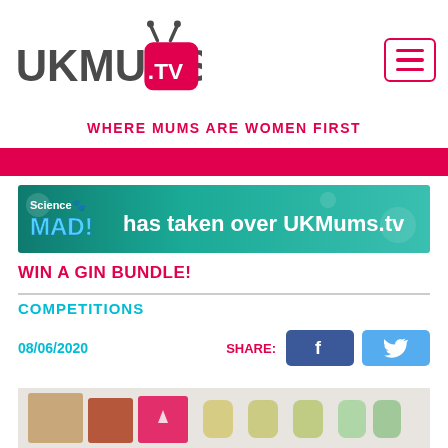[Figure (logo): UKMums.TV logo - UKMUMS in dark grey bold text, .TV in pink rounded TV screen shape with antenna]
[Figure (other): Hamburger menu icon - three horizontal lines in a pink rounded square border]
WHERE MUMS ARE WOMEN FIRST
[Figure (other): Pink horizontal bar across full width]
[Figure (screenshot): Science MAD! has taken over UKMums.tv - banner ad with blue/teal science background]
WIN A GIN BUNDLE!
COMPETITIONS
08/06/2020
SHARE:
[Figure (photo): Gin bundle product photo showing boxes and bottles]